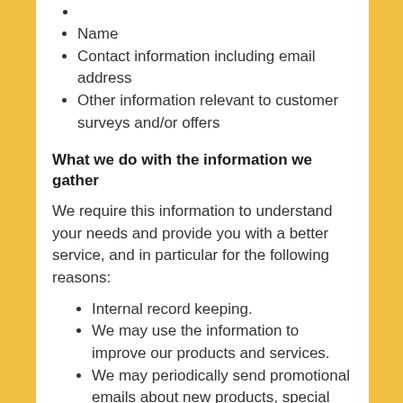Name
Contact information including email address
Other information relevant to customer surveys and/or offers
What we do with the information we gather
We require this information to understand your needs and provide you with a better service, and in particular for the following reasons:
Internal record keeping.
We may use the information to improve our products and services.
We may periodically send promotional emails about new products, special offers or other information which we think you may find interesting using the email